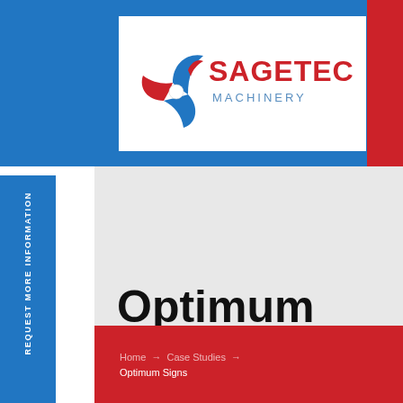[Figure (logo): Sagetech Machinery logo with blue and red fan/propeller icon and company name]
REQUEST MORE INFORMATION
Optimum Signs
Home → Case Studies → Optimum Signs